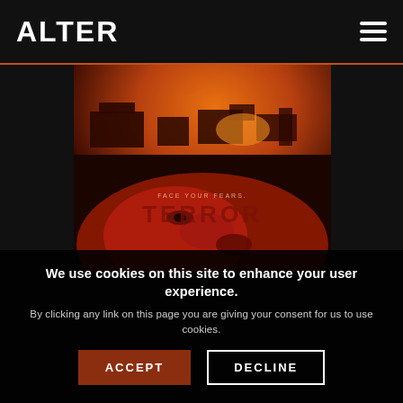ALTER
[Figure (photo): Horror movie poster with a red/orange toned image of a person's face lying down submerged or on a dark surface, with industrial buildings in the background under a fiery orange sky. Text reads 'FACE YOUR FEARS.' at bottom.]
We use cookies on this site to enhance your user experience.
By clicking any link on this page you are giving your consent for us to use cookies.
ACCEPT
DECLINE